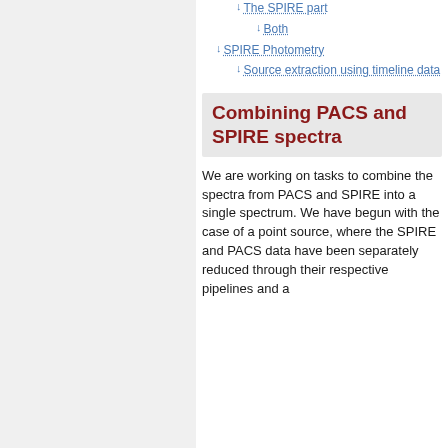↓ The SPIRE part
↓ Both
↓ SPIRE Photometry
↓ Source extraction using timeline data
Combining PACS and SPIRE spectra
We are working on tasks to combine the spectra from PACS and SPIRE into a single spectrum. We have begun with the case of a point source, where the SPIRE and PACS data have been separately reduced through their respective pipelines and a